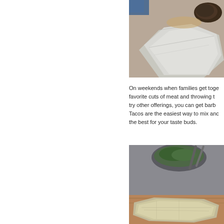[Figure (photo): Food wrapped in aluminum foil on a surface, partially visible at top right of page]
On weekends when families get together, favorite cuts of meat and throwing t... try other offerings, you can get barb... Tacos are the easiest way to mix and the best for your taste buds.
A lonche ($8, below) is just beef and leeching into the roll before it leaves this bread may be different from tern telera. It appears similar to a bolillo,
[Figure (photo): Food wrapped in aluminum foil on a wooden surface with a bowl of greens and utensils visible in background]